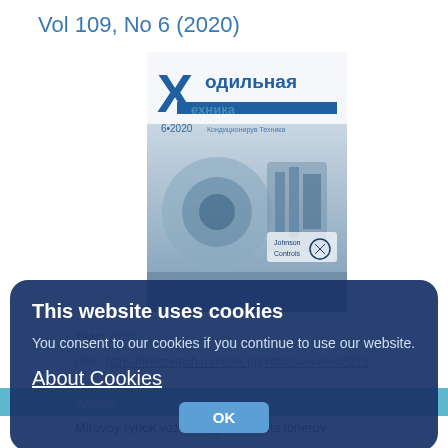Vol 109, No 6 (2020)
[Figure (photo): Cover image of Kholodilnaya Tekhnika (Refrigeration Technology) journal, Vol 109 No 6, 2020, showing industrial refrigeration equipment and Johnson Controls branding.]
Year: 2020.
URL: https://freezetech.ru/index.php/ht/issue/view/5211
Articles
Mirovoy rynok vozdushnykh kondits ionerov
- -.
Refrigeration Technology. 2020;109(6):6-7
[Figure (screenshot): Cookie consent overlay dialog with dark blue background. Contains heading 'This website uses cookies', body text 'You consent to our cookies if you continue to use our website.', an 'About Cookies' link, and an OK button.]